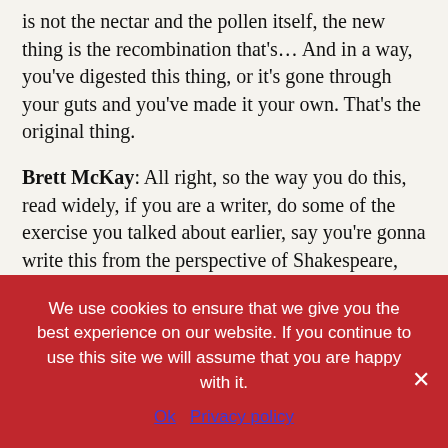is not the nectar and the pollen itself, the new thing is the recombination that's… And in a way, you've digested this thing, or it's gone through your guts and you've made it your own. That's the original thing.
Brett McKay: All right, so the way you do this, read widely, if you are a writer, do some of the exercise you talked about earlier, say you're gonna write this from the perspective of Shakespeare, like how Shakespeare would write this essay. But you could even do… And you talk about this in the book. We've written about this on our website, copy work, where you just… You basically just… Hunter S. Thompson did this.
We use cookies to ensure that we give you the best experience on our website. If you continue to use this site we will assume that you are happy with it.
Ok   Privacy policy